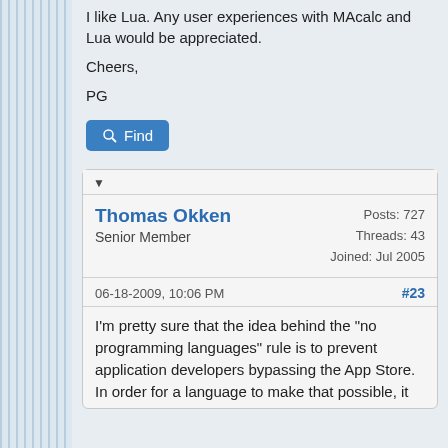I like Lua. Any user experiences with MAcalc and Lua would be appreciated.
Cheers,
PG
Find
Thomas Okken
Senior Member
Posts: 727
Threads: 43
Joined: Jul 2005
06-18-2009, 10:06 PM
#23
I'm pretty sure that the idea behind the "no programming languages" rule is to prevent application developers bypassing the App Store. In order for a language to make that possible, it